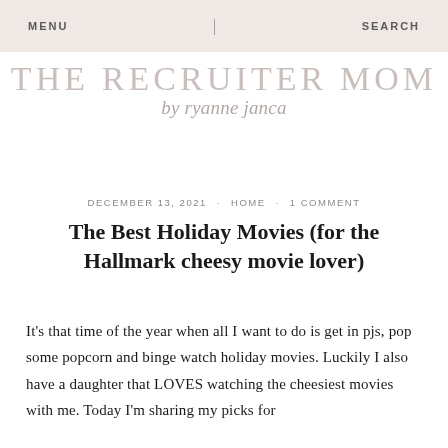MENU | SEARCH
THE RECRUITER MOM by ryanne janca
DECEMBER 13, 2021 · HOME · 1 COMMENT
The Best Holiday Movies (for the Hallmark cheesy movie lover)
It's that time of the year when all I want to do is get in pjs, pop some popcorn and binge watch holiday movies. Luckily I also have a daughter that LOVES watching the cheesiest movies with me. Today I'm sharing my picks for